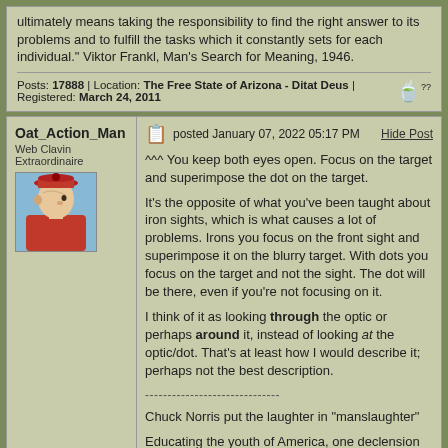ultimately means taking the responsibility to find the right answer to its problems and to fulfill the tasks which it constantly sets for each individual." Viktor Frankl, Man's Search for Meaning, 1946.
Posts: 17888 | Location: The Free State of Arizona - Ditat Deus | Registered: March 24, 2011
Oat_Action_Man
Web Clavin Extraordinaire
posted January 07, 2022 05:17 PM
Hide Post
^^^ You keep both eyes open. Focus on the target and superimpose the dot on the target.

It's the opposite of what you've been taught about iron sights, which is what causes a lot of problems. Irons you focus on the front sight and superimpose it on the blurry target. With dots you focus on the target and not the sight. The dot will be there, even if you're not focusing on it.

I think of it as looking through the optic or perhaps around it, instead of looking at the optic/dot. That's at least how I would describe it; perhaps not the best description.

------------------------------

Chuck Norris put the laughter in "manslaughter"

Educating the youth of America, one declension at a time.